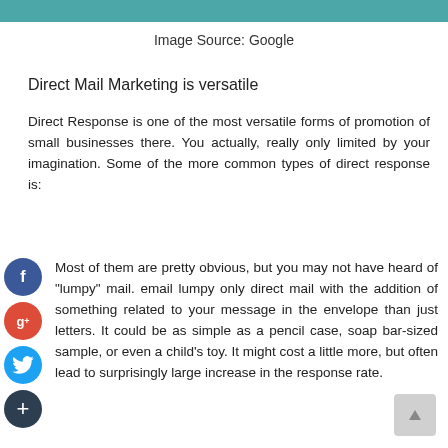Image Source: Google
Direct Mail Marketing is versatile
Direct Response is one of the most versatile forms of promotion of small businesses there. You actually, really only limited by your imagination. Some of the more common types of direct response is:
Most of them are pretty obvious, but you may not have heard of "lumpy" mail. email lumpy only direct mail with the addition of something related to your message in the envelope than just letters. It could be as simple as a pencil case, soap bar-sized sample, or even a child's toy. It might cost a little more, but often lead to surprisingly large increase in the response rate.